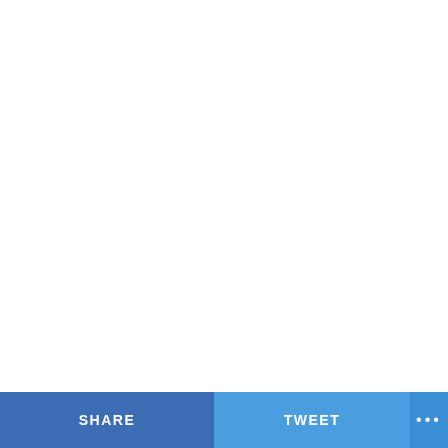[Figure (infographic): Orange/coral rounded banner card with decorative circle overlays. Contains headline 'Your job in sport is calling!', subtitle 'The better way to find a job in sport', an 'Explore Jobs →' button, and the SPORTSWORK.CO logo with flag icon on the right.]
Your job in sport is calling!
The better way to find a job in sport
Explore Jobs →
SPORTSWORK.CO
SHARE   TWEET   •••